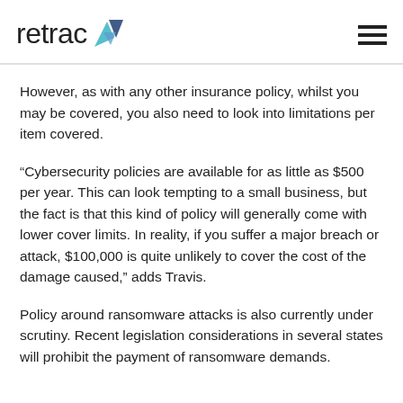retrac
However, as with any other insurance policy, whilst you may be covered, you also need to look into limitations per item covered.
“Cybersecurity policies are available for as little as $500 per year. This can look tempting to a small business, but the fact is that this kind of policy will generally come with lower cover limits. In reality, if you suffer a major breach or attack, $100,000 is quite unlikely to cover the cost of the damage caused,” adds Travis.
Policy around ransomware attacks is also currently under scrutiny. Recent legislation considerations in several states will prohibit the payment of ransomware demands.